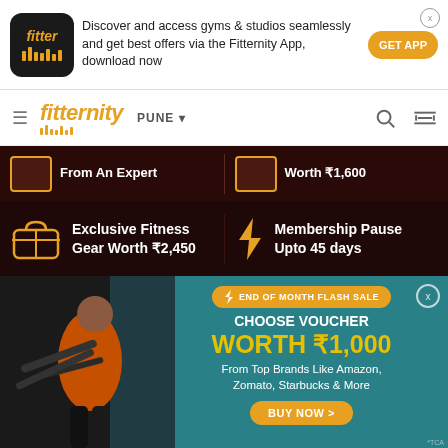[Figure (screenshot): Fitternity app promotional banner with app icon, text, and GET APP button]
[Figure (screenshot): Fitternity website navigation bar with logo, PUNE city selector, search and filter icons]
[Figure (screenshot): Dark promotional strip showing 'From An Expert' and 'Worth ₹1,600' benefits]
[Figure (screenshot): Dark promotional strip showing 'Exclusive Fitness Gear Worth ₹2,450' and 'Membership Pause Upto 45 days']
[Figure (screenshot): End of Month Flash Sale banner: Choose Voucher Worth ₹1,000 from Top Brands Like Amazon, Zomato, Starbucks & More, with BUY NOW button and person doing battle ropes]